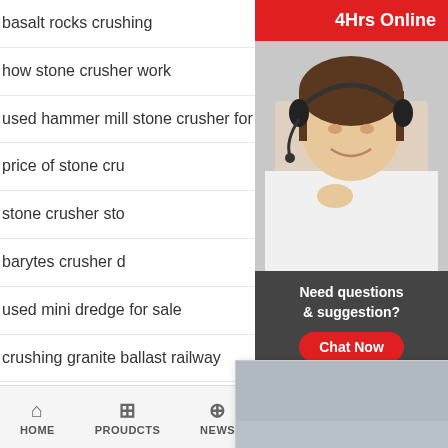basalt rocks crushing
how stone crusher work
used hammer mill stone crusher for sale
price of stone cru…
stone crusher sto…
barytes crusher d…
used mini dredge for sale
crushing granite ballast railway
[Figure (screenshot): Live chat popup with workers in hard hats, LIVE CHAT title in red italic, 'Click for a Free Consultation' subtitle, Chat now (red) and Chat later (dark) buttons]
[Figure (screenshot): Right sidebar with '4Hrs Online' red bar, female agent with headset photo, 'Need questions & suggestion?' dark box with red Chat Now button, Enquiry bar, limingjlmofen bar]
HOME   PROUDCTS   NEWS   limingjlmofen